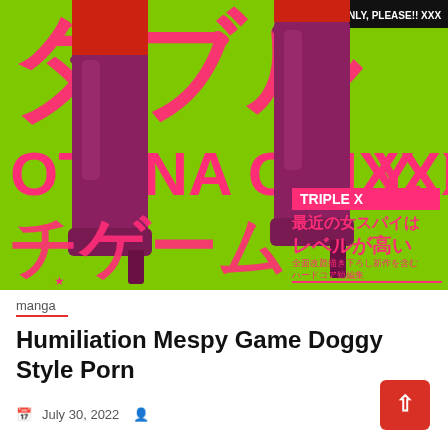[Figure (illustration): Manga book cover with bright green background, large pink/magenta Japanese text and stylized figures wearing purple high-heel boots. Text includes 'OTONA ONLY, PLEASE!! XXX', 'TRIPLE X', Japanese characters, and subtitle text about female spies.]
manga
Humiliation Mespy Game Doggy Style Porn
July 30, 2022